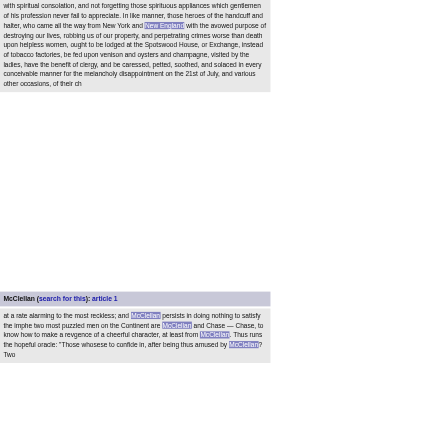with spiritual consolation, and not forgetting those spirituous appliances which gentlemen of his profession never fail to appreciate. In like manner, those heroes of the handcuff and halter, who came all the way from New York and New England with the avowed purpose of destroying our lives, robbing us of our property, and perpetrating crimes worse than death upon helpless women, ought to be lodged at the Spotswood House, or Exchange, instead of tobacco factories, be fed upon venison and oysters and champagne, visited by the ladies, have the benefit of clergy, and be caressed, petted, soothed, and solaced in every conceivable manner for the melancholy disappointment on the 21st of July, and various other occasions, of their ch
McClellan (search for this): article 1
at a rate alarming to the most reckless; and McClellan persists in doing nothing to satisfy the imphe two most puzzled men on the Continent are McClellan and Chase — Chase, to know how to make a revgence of a cheerful character, at least from McClellan. Thus runs the hopeful oracle: "Those whosese to confide in, after being thus amused by McClellan? Two